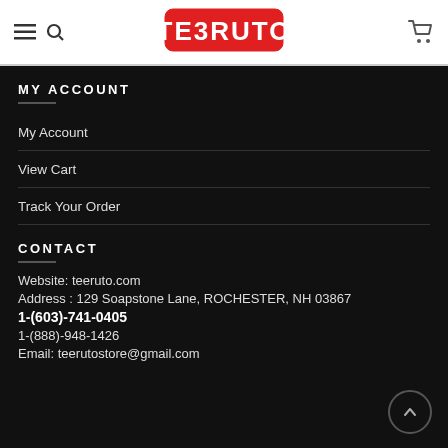TEERUTO — navigation header with hamburger, search, logo, and cart icons
MY ACCOUNT
My Account
View Cart
Track Your Order
CONTACT
Website: teeruto.com
Address : 129 Soapstone Lane, ROCHESTER, NH 03867
1-(603)-741-0405
1-(888)-948-1426
Email: teerutostore@gmail.com